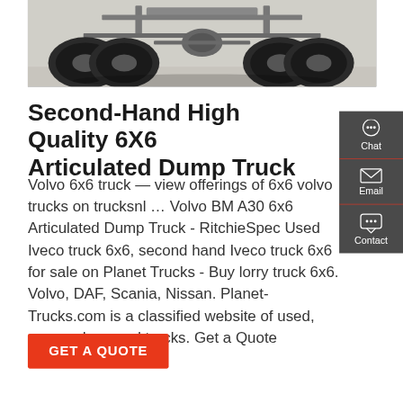[Figure (photo): Undercarriage view of a 6x6 articulated dump truck, showing the rear axles, tires, and chassis from below.]
Second-Hand High Quality 6X6 Articulated Dump Truck
Volvo 6x6 truck — view offerings of 6x6 volvo trucks on trucksnl … Volvo BM A30 6x6 Articulated Dump Truck - RitchieSpec Used Iveco truck 6x6, second hand Iveco truck 6x6 for sale on Planet Trucks - Buy lorry truck 6x6. Volvo, DAF, Scania, Nissan. Planet-Trucks.com is a classified website of used, new or damaged trucks. Get a Quote
[Figure (infographic): Right-side floating sidebar with Chat, Email, and Contact buttons on a dark grey background.]
GET A QUOTE